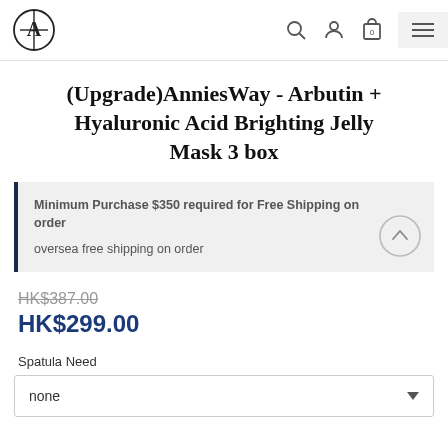AnniesWay logo, search, account, cart (0), menu
(Upgrade)AnniesWay - Arbutin + Hyaluronic Acid Brighting Jelly Mask 3 box
Minimum Purchase $350 required for Free Shipping on order
oversea free shipping on order
HK$387.00
HK$299.00
Spatula Need
none